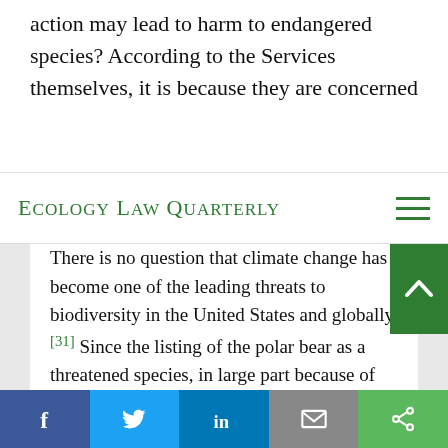action may lead to harm to endangered species? According to the Services themselves, it is because they are concerned
Ecology Law Quarterly
There is no question that climate change has become one of the leading threats to biodiversity in the United States and globally. [31] Since the listing of the polar bear as a threatened species, in large part because of the impacts of climate change on its sea ice habitat, it has become apparent that it is only a matter of time before the ESA is used to
[Figure (other): Social sharing bar with Facebook, Twitter, LinkedIn, Email, and Share buttons]